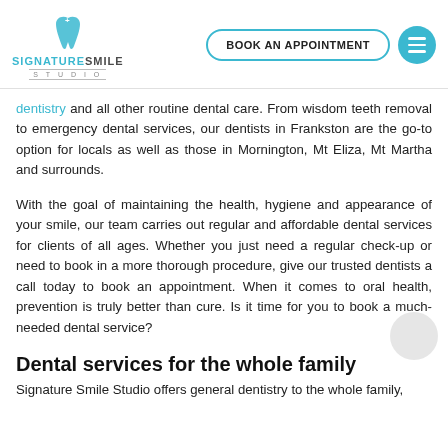[Figure (logo): Signature Smile Studio logo with tooth icon and teal text]
dentistry and all other routine dental care. From wisdom teeth removal to emergency dental services, our dentists in Frankston are the go-to option for locals as well as those in Mornington, Mt Eliza, Mt Martha and surrounds.
With the goal of maintaining the health, hygiene and appearance of your smile, our team carries out regular and affordable dental services for clients of all ages. Whether you just need a regular check-up or need to book in a more thorough procedure, give our trusted dentists a call today to book an appointment. When it comes to oral health, prevention is truly better than cure. Is it time for you to book a much-needed dental service?
Dental services for the whole family
Signature Smile Studio offers general dentistry to the whole family,